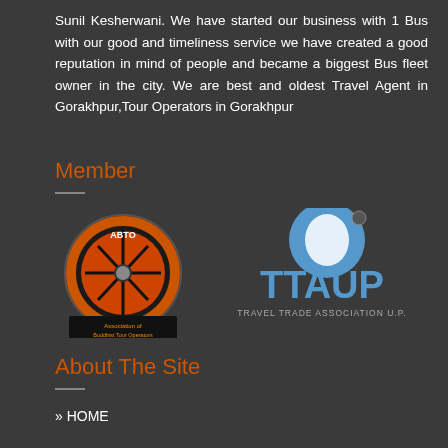Sunil Kesherwani. We have started our business with 1 Bus with our good and timeliness service we have created a good reputation in mind of people and became a biggest Bus fleet owner in the city. We are best and oldest Travel Agent in Gorakhpur,Tour Operators in Gorakhpur
Member
[Figure (logo): ABTO - Association of Buddhist Tour Operators logo with a ship wheel design and text 'www.abto.co.in']
[Figure (logo): TTAUP - Travel Trade Association U.P. logo with a blue teardrop/globe shape]
About The Site
» HOME